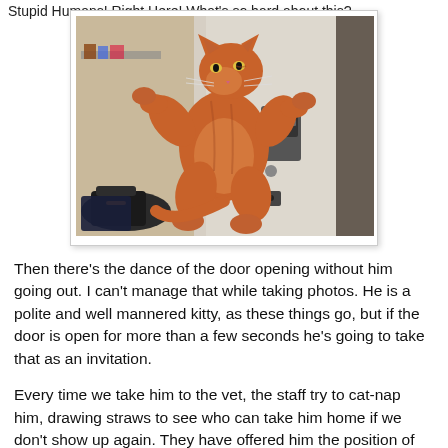Stupid Humans! Right Here! What's so hard about this?
[Figure (photo): A large fluffy orange/ginger tabby cat standing on its hind legs, pawing at a door with both front paws, appearing to try to open or claw the door. Background shows an indoor hallway with bags on the floor.]
Then there's the dance of the door opening without him going out. I can't manage that while taking photos. He is a polite and well mannered kitty, as these things go, but if the door is open for more than a few seconds he's going to take that as an invitation.
Every time we take him to the vet, the staff try to cat-nap him, drawing straws to see who can take him home if we don't show up again. They have offered him the position of head cat, but he declined, saying he didn't want to oversee